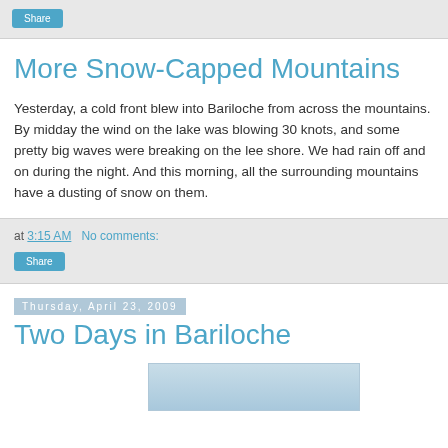Share
More Snow-Capped Mountains
Yesterday, a cold front blew into Bariloche from across the mountains. By midday the wind on the lake was blowing 30 knots, and some pretty big waves were breaking on the lee shore. We had rain off and on during the night. And this morning, all the surrounding mountains have a dusting of snow on them.
at 3:15 AM   No comments:
Share
Thursday, April 23, 2009
Two Days in Bariloche
[Figure (photo): Partial photo visible at bottom of page, appears to show blue sky or snow-capped mountain scene]